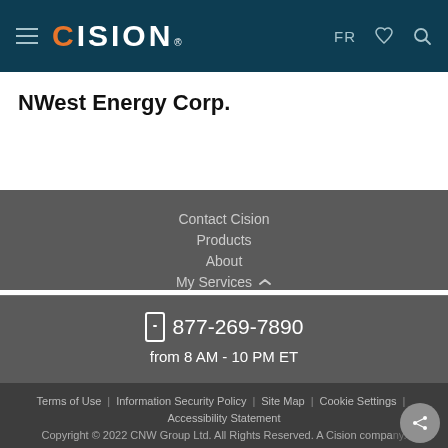CISION — FR [phone icon] [search icon]
NWest Energy Corp.
Contact Cision
Products
About
My Services
877-269-7890
from 8 AM - 10 PM ET
Terms of Use | Information Security Policy | Site Map | Cookie Settings | Accessibility Statement
Copyright © 2022 CNW Group Ltd. All Rights Reserved. A Cision company.